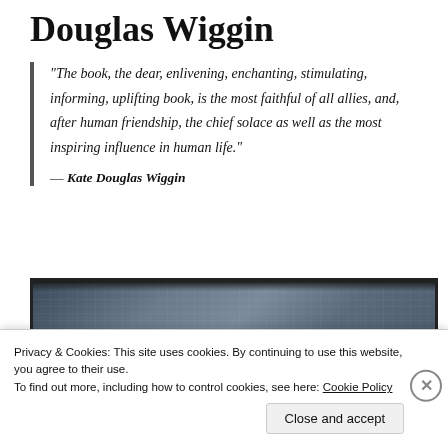Douglas Wiggin
“The book, the dear, enlivening, enchanting, stimulating, informing, uplifting book, is the most faithful of all allies, and, after human friendship, the chief solace as well as the most inspiring influence in human life.”
— Kate Douglas Wiggin
[Figure (photo): Close-up photo of the spine/cover of an old cloth-bound book, dark blue-grey fabric texture with visible weave pattern and a dark border frame]
Privacy & Cookies: This site uses cookies. By continuing to use this website, you agree to their use.
To find out more, including how to control cookies, see here: Cookie Policy
Close and accept